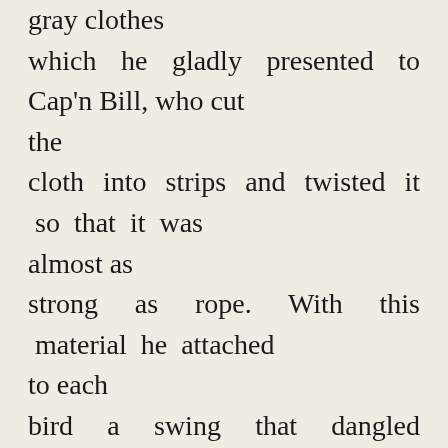gray clothes which he gladly presented to Cap'n Bill, who cut the cloth into strips and twisted it so that it was almost as strong as rope. With this material he attached to each bird a swing that dangled below its feet, and Button-Bright made a trial flight in one of them to prove that it was safe and comfortable. When all this had